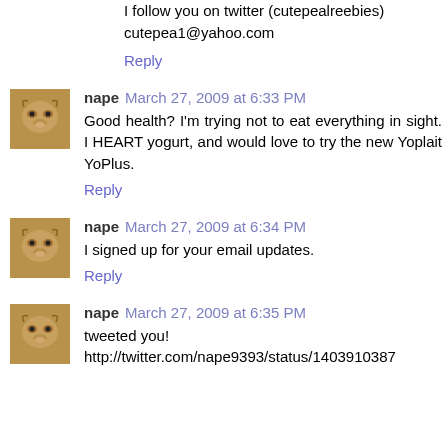I follow you on twitter (cutepealreebies)
cutepea1@yahoo.com
Reply
nape  March 27, 2009 at 6:33 PM
Good health? I'm trying not to eat everything in sight. I HEART yogurt, and would love to try the new Yoplait YoPlus.
Reply
nape  March 27, 2009 at 6:34 PM
I signed up for your email updates.
Reply
nape  March 27, 2009 at 6:35 PM
tweeted you!
http://twitter.com/nape9393/status/1403910387